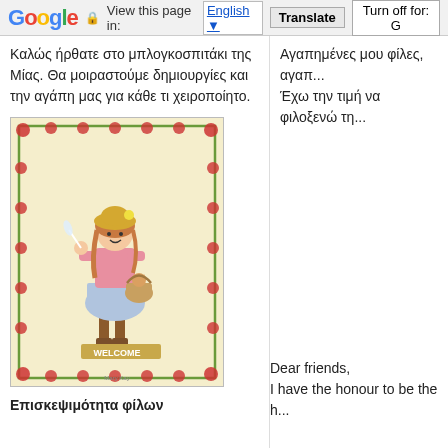Google  View this page in: English [▼]  Translate  Turn off for: G
Καλώς ήρθατε στο μπλογκοσπιτάκι της Μίας. Θα μοιραστούμε δημιουργίες και την αγάπη μας για κάθε τι χειροποίητο.
[Figure (illustration): Illustrated greeting card with floral border showing a girl in a pink jacket, blue skirt, and yellow hat, standing on a welcome mat with a kitten in a basket]
Επισκεψιμότητα φίλων
Αγαπημένες μου φίλες, αγαπ... Έχω την τιμή να φιλοξενώ τη...
Dear friends, I have the honour to be the h...